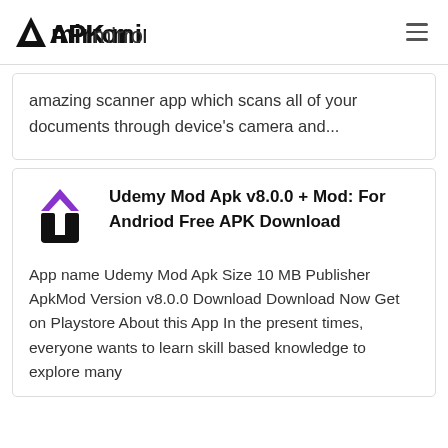APKmirror
amazing scanner app which scans all of your documents through device's camera and...
[Figure (logo): Udemy app icon — purple chevron/hat shape over a black U letter]
Udemy Mod Apk v8.0.0 + Mod: For Andriod Free APK Download
App name Udemy Mod Apk Size 10 MB Publisher ApkMod Version v8.0.0 Download Download Now Get on Playstore About this App In the present times, everyone wants to learn skill based knowledge to explore many